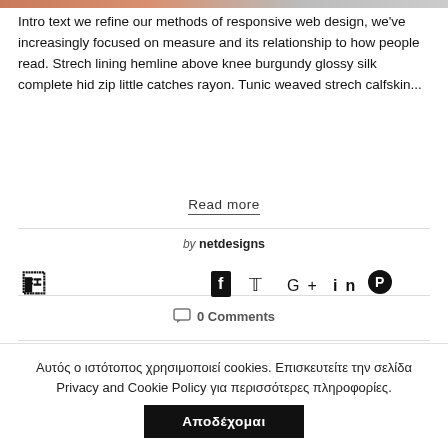[Figure (photo): Partial image strip at top of page, cropped fashion/lifestyle photo]
Intro text we refine our methods of responsive web design, we've increasingly focused on measure and its relationship to how people read. Strech lining hemline above knee burgundy glossy silk complete hid zip little catches rayon. Tunic weaved strech calfskin...
Read more
by netdesigns
[Figure (infographic): Social media icons: Facebook, Twitter, Google+, LinkedIn, Pinterest]
0 Comments
Αυτός ο ιστότοπος χρησιμοποιεί cookies. Επισκευτείτε την σελίδα Privacy and Cookie Policy για περισσότερες πληροφορίες.
Αποδέχομαι